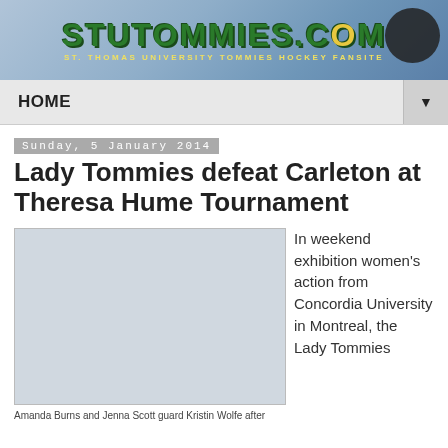[Figure (logo): STUTommies.com website banner with green and yellow text on a blue-grey hockey background with a puck, subtitle reads ST. THOMAS UNIVERSITY TOMMIES HOCKEY FANSITE]
HOME
Sunday, 5 January 2014
Lady Tommies defeat Carleton at Theresa Hume Tournament
[Figure (photo): Photo of Amanda Burns and Jenna Scott guarding Kristin Wolfe after the game]
Amanda Burns and Jenna Scott guard Kristin Wolfe after
In weekend exhibition women's action from Concordia University in Montreal, the Lady Tommies